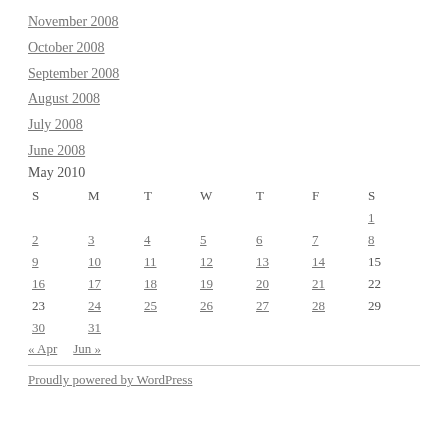November 2008
October 2008
September 2008
August 2008
July 2008
June 2008
May 2010
| S | M | T | W | T | F | S |
| --- | --- | --- | --- | --- | --- | --- |
|  |  |  |  |  |  | 1 |
| 2 | 3 | 4 | 5 | 6 | 7 | 8 |
| 9 | 10 | 11 | 12 | 13 | 14 | 15 |
| 16 | 17 | 18 | 19 | 20 | 21 | 22 |
| 23 | 24 | 25 | 26 | 27 | 28 | 29 |
| 30 | 31 |  |  |  |  |  |
« Apr   Jun »
Proudly powered by WordPress